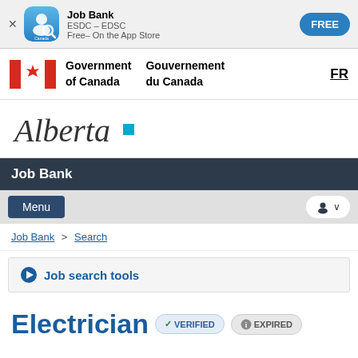[Figure (screenshot): App Store banner for Job Bank app by ESDC-EDSC, free on the App Store, with FREE button]
[Figure (logo): Government of Canada / Gouvernement du Canada bilingual logo with Canadian flag and FR link]
[Figure (logo): Alberta provincial logo in cursive script with teal square]
Job Bank
Menu
Job Bank > Search
Job search tools
Electrician VERIFIED EXPIRED